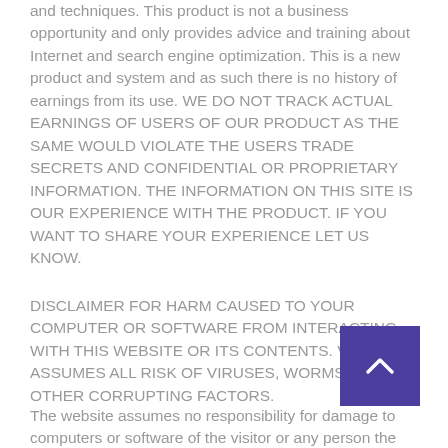and techniques. This product is not a business opportunity and only provides advice and training about Internet and search engine optimization. This is a new product and system and as such there is no history of earnings from its use. WE DO NOT TRACK ACTUAL EARNINGS OF USERS OF OUR PRODUCT AS THE SAME WOULD VIOLATE THE USERS TRADE SECRETS AND CONFIDENTIAL OR PROPRIETARY INFORMATION. THE INFORMATION ON THIS SITE IS OUR EXPERIENCE WITH THE PRODUCT. IF YOU WANT TO SHARE YOUR EXPERIENCE LET US KNOW.
DISCLAIMER FOR HARM CAUSED TO YOUR COMPUTER OR SOFTWARE FROM INTERACTING WITH THIS WEBSITE OR ITS CONTENTS. VISITOR ASSUMES ALL RISK OF VIRUSES, WORMS, OR OTHER CORRUPTING FACTORS.
The website assumes no responsibility for damage to computers or software of the visitor or any person the